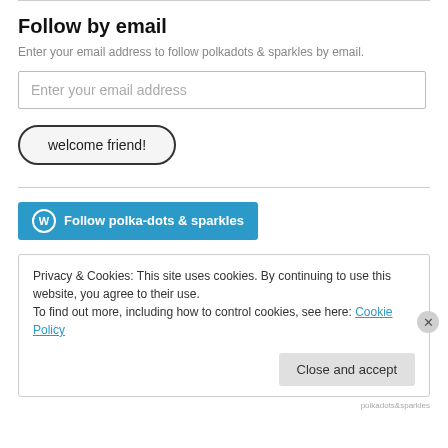Follow by email
Enter your email address to follow polkadots & sparkles by email.
Enter your email address
welcome friend!
[Figure (other): Follow polka-dots & sparkles WordPress follow button (blue)]
Privacy & Cookies: This site uses cookies. By continuing to use this website, you agree to their use.
To find out more, including how to control cookies, see here: Cookie Policy
Close and accept